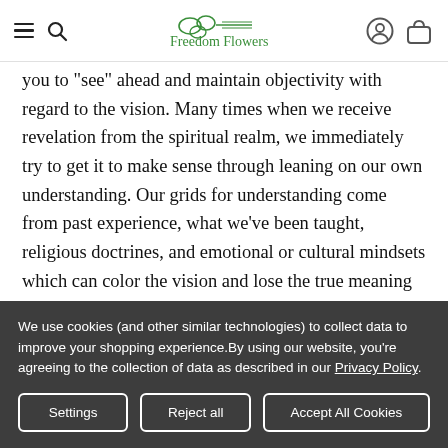Freedom Flowers [logo with hamburger menu, search, user and basket icons]
you to "see" ahead and maintain objectivity with regard to the vision. Many times when we receive revelation from the spiritual realm, we immediately try to get it to make sense through leaning on our own understanding. Our grids for understanding come from past experience, what we've been taught, religious doctrines, and emotional or cultural mindsets which can color the vision and lose the true meaning in the translation. Speedwell keeps you grounded and better able to see it for what it is.
We use cookies (and other similar technologies) to collect data to improve your shopping experience.By using our website, you're agreeing to the collection of data as described in our Privacy Policy.
Settings
Reject all
Accept All Cookies